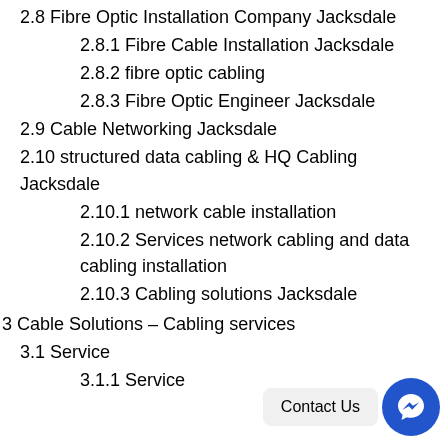2.8 Fibre Optic Installation Company Jacksdale
2.8.1 Fibre Cable Installation Jacksdale
2.8.2 fibre optic cabling
2.8.3 Fibre Optic Engineer Jacksdale
2.9 Cable Networking Jacksdale
2.10 structured data cabling & HQ Cabling Jacksdale
2.10.1 network cable installation
2.10.2 Services network cabling and data cabling installation
2.10.3 Cabling solutions Jacksdale
3 Cable Solutions – Cabling services
3.1 Service
3.1.1 Service